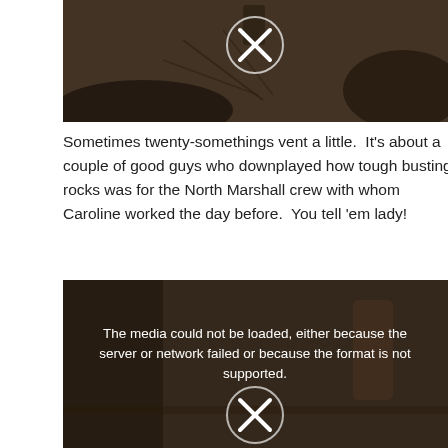[Figure (photo): Dark outdoor scene showing ground with sticks/branches and a video player overlay showing a circle with X icon indicating failed media]
Sometimes twenty-somethings vent a little.  It's about a couple of good guys who downplayed how tough busting rocks was for the North Marshall crew with whom Caroline worked the day before.  You tell 'em lady!
[Figure (photo): Dark outdoor scene with people and a video error message: 'The media could not be loaded, either because the server or network failed or because the format is not supported.' with a circle X icon]